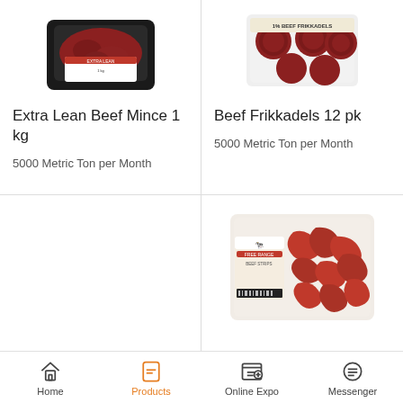[Figure (photo): Extra Lean Beef Mince 1 kg product in black tray packaging]
Extra Lean Beef Mince 1 kg
5000 Metric Ton per Month
[Figure (photo): Beef Frikkadels 12 pk product in clear tray packaging]
Beef Frikkadels 12 pk
5000 Metric Ton per Month
[Figure (photo): Empty left bottom cell]
[Figure (photo): Free Range beef strips product in clear tray packaging]
Home | Products | Online Expo | Messenger